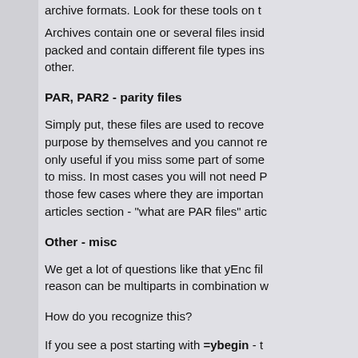archive formats. Look for these tools on t
Archives contain one or several files inside them. They can be compressed or just packed and contain different file types inside, images, text files, binaries or other.
PAR, PAR2 - parity files
Simply put, these files are used to recover missing data. They serve no purpose by themselves and you cannot really use them. Parity files are only useful if you miss some part of some file and have some parts yet to miss. In most cases you will not need PAR files. We have an article for those few cases where they are important. You can find it in our articles section - "what are PAR files" artic
Other - misc
We get a lot of questions like that yEnc files cannot be decoded. The reason can be multiparts in combination w
How do you recognize this?
If you see a post starting with =ybegin - this means the file needs to be decoded from yEnc. You need yDecode to
Quote